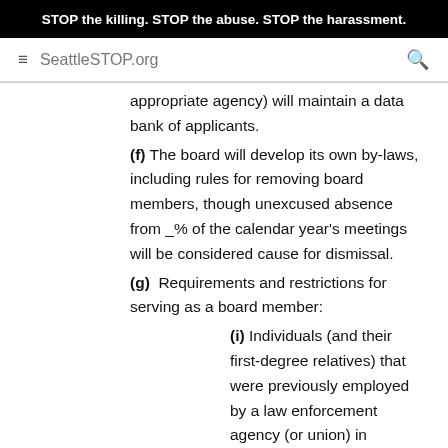STOP the killing. STOP the abuse. STOP the harassment.
SeattleSTOP.org
appropriate agency) will maintain a data bank of applicants.
(f) The board will develop its own by-laws, including rules for removing board members, though unexcused absence from _% of the calendar year's meetings will be considered cause for dismissal.
(g)  Requirements and restrictions for serving as a board member:
(i) Individuals (and their first-degree relatives) that were previously employed by a law enforcement agency (or union) in